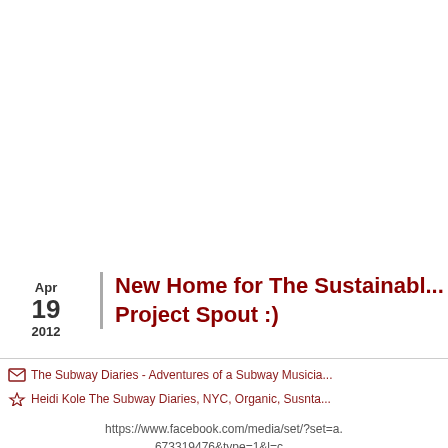New Home for The Sustainable Project Spout :)
Apr 19 2012
The Subway Diaries - Adventures of a Subway Musicia...
Heidi Kole The Subway Diaries, NYC, Organic, Susnta...
https://www.facebook.com/media/set/?set=a. 673319476&type=1&l=c...